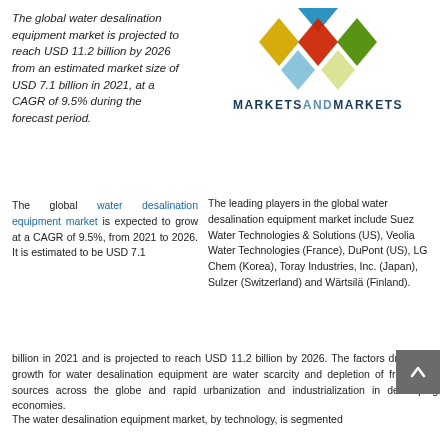The global water desalination equipment market is projected to reach USD 11.2 billion by 2026 from an estimated market size of USD 7.1 billion in 2021, at a CAGR of 9.5% during the forecast period.
[Figure (logo): MarketsandMarkets logo with four diamond shapes in blue, yellow, red, and green colors, and the text MARKETSANDMARKETS below]
The leading players in the global water desalination equipment market include Suez Water Technologies & Solutions (US), Veolia Water Technologies (France), DuPont (US), LG Chem (Korea), Toray Industries, Inc. (Japan), Sulzer (Switzerland) and Wärtsilä (Finland).
The global water desalination equipment market is expected to grow at a CAGR of 9.5%, from 2021 to 2026. It is estimated to be USD 7.1 billion in 2021 and is projected to reach USD 11.2 billion by 2026. The factors driving the growth for water desalination equipment are water scarcity and depletion of freshwater sources across the globe and rapid urbanization and industrialization in developing economies.
The water desalination equipment market, by technology, is segmented